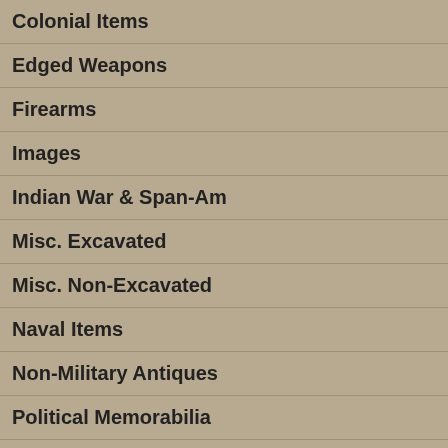Colonial Items
Edged Weapons
Firearms
Images
Indian War & Span-Am
Misc. Excavated
Misc. Non-Excavated
Naval Items
Non-Military Antiques
Political Memorabilia
Veterans Items
[Figure (photo): Scanned text document page with dense typed text about Battery H military history]
[Figure (photo): Blue folder/binder cover]
[Figure (photo): Brown embossed book cover with decorative pattern]
[Figure (photo): Blue background with partial view of a hand/thumb]
[Figure (photo): Open book page showing handwritten cursive inscription]
[Figure (photo): Blue background partial]